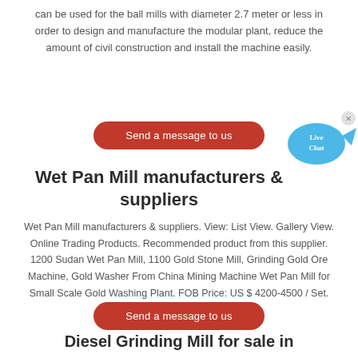can be used for the ball mills with diameter 2.7 meter or less in order to design and manufacture the modular plant, reduce the amount of civil construction and install the machine easily.
Send a message to us
Wet Pan Mill manufacturers & suppliers
Wet Pan Mill manufacturers & suppliers. View: List View. Gallery View. Online Trading Products. Recommended product from this supplier. 1200 Sudan Wet Pan Mill, 1100 Gold Stone Mill, Grinding Gold Ore Machine, Gold Washer From China Mining Machine Wet Pan Mill for Small Scale Gold Washing Plant. FOB Price: US $ 4200-4500 / Set.
Send a message to us
Diesel Grinding Mill for sale in